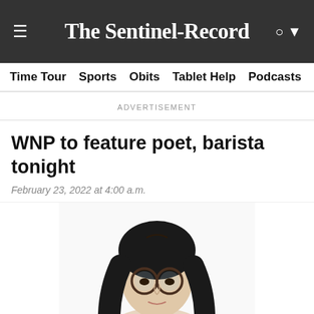The Sentinel-Record
Time Tour  Sports  Obits  Tablet Help  Podcasts  Crime
ADVERTISEMENT
WNP to feature poet, barista tonight
February 23, 2022 at 4:00 a.m.
[Figure (photo): Portrait photo of a young woman with long dark hair and round glasses, cropped at chest level, white background.]